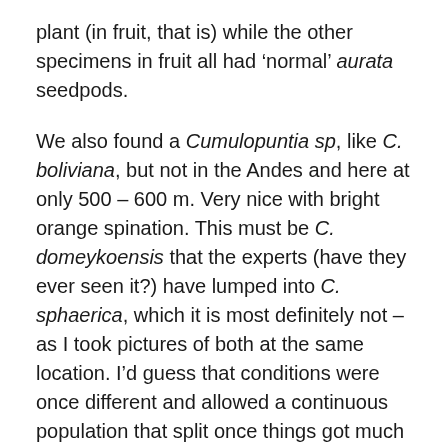plant (in fruit, that is) while the other specimens in fruit all had 'normal' aurata seedpods.
We also found a Cumulopuntia sp, like C. boliviana, but not in the Andes and here at only 500 – 600 m. Very nice with bright orange spination. This must be C. domeykoensis that the experts (have they ever seen it?) have lumped into C. sphaerica, which it is most definitely not – as I took pictures of both at the same location. I'd guess that conditions were once different and allowed a continuous population that split once things got much harsher.
When we got back to about km 1-4 on this new track we found many Copiapoa. You may remember from earlier trip reports that we regularly stop on the Domeyko to Carrizalillo – El Sarco track to see Ritter's Copiapoa